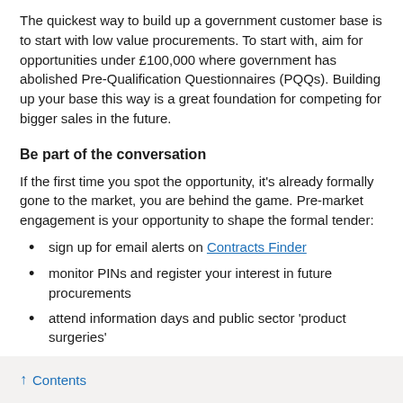The quickest way to build up a government customer base is to start with low value procurements. To start with, aim for opportunities under £100,000 where government has abolished Pre-Qualification Questionnaires (PQQs). Building up your base this way is a great foundation for competing for bigger sales in the future.
Be part of the conversation
If the first time you spot the opportunity, it's already formally gone to the market, you are behind the game. Pre-market engagement is your opportunity to shape the formal tender:
sign up for email alerts on Contracts Finder
monitor PINs and register your interest in future procurements
attend information days and public sector 'product surgeries'
↑ Contents